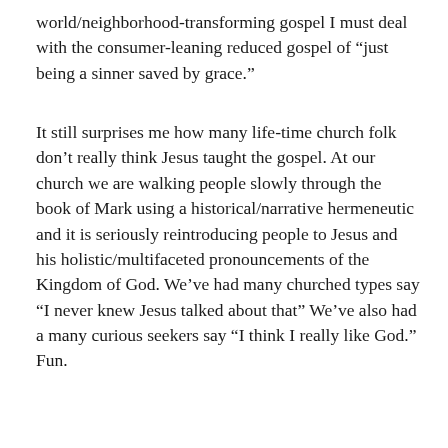world/neighborhood-transforming gospel I must deal with the consumer-leaning reduced gospel of “just being a sinner saved by grace.”
It still surprises me how many life-time church folk don’t really think Jesus taught the gospel. At our church we are walking people slowly through the book of Mark using a historical/narrative hermeneutic and it is seriously reintroducing people to Jesus and his holistic/multifaceted pronouncements of the Kingdom of God. We’ve had many churched types say “I never knew Jesus talked about that” We’ve also had a many curious seekers say “I think I really like God.” Fun.
Reply